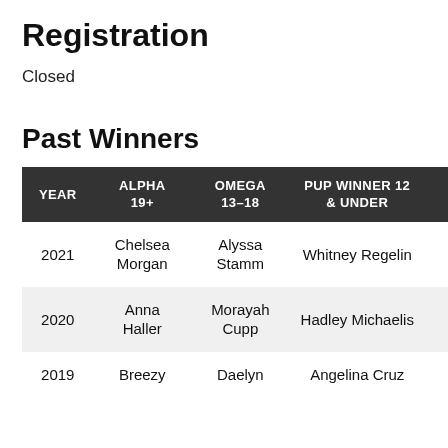Registration
Closed
Past Winners
| YEAR | ALPHA 19+ | OMEGA 13–18 | PUP WINNER 12 & UNDER | B H |
| --- | --- | --- | --- | --- |
| 2021 | Chelsea Morgan | Alyssa Stamm | Whitney Regelin | Ch Mo |
| 2020 | Anna Haller | Morayah Cupp | Hadley Michaelis | A H |
| 2019 | Breezy | Daelyn | Angelina Cruz | Da |